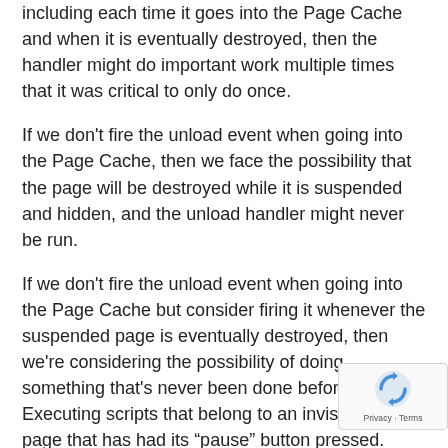including each time it goes into the Page Cache and when it is eventually destroyed, then the handler might do important work multiple times that it was critical to only do once.
If we don't fire the unload event when going into the Page Cache, then we face the possibility that the page will be destroyed while it is suspended and hidden, and the unload handler might never be run.
If we don't fire the unload event when going into the Page Cache but consider firing it whenever the suspended page is eventually destroyed, then we're considering the possibility of doing something that's never been done before: Executing scripts that belong to an invisible web page that has had its “pause” button pressed.
There’s all sorts of obstacles in making this work we including technological hurdles, security concerns, a user-experience considerations.
[Figure (logo): reCAPTCHA badge with rotating arrows logo and Privacy/Terms links]